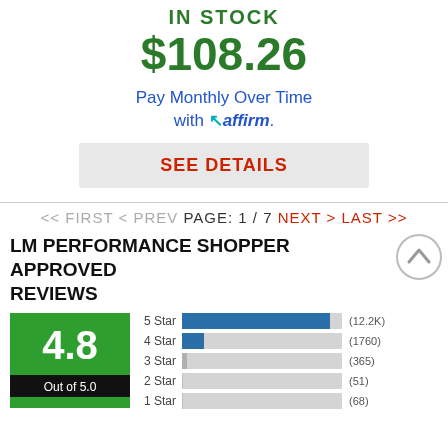IN STOCK
$108.26
Pay Monthly Over Time with Affirm.
SEE DETAILS
<< FIRST < PREV PAGE: 1 / 7 NEXT > LAST >>
LM PERFORMANCE SHOPPER APPROVED REVIEWS
[Figure (bar-chart): Rating distribution]